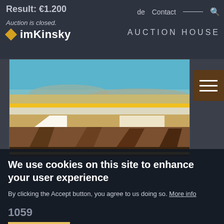Result: €1,200 | de | Contact | imKinsky AUCTION HOUSE
[Figure (photo): Painting of an industrial/landscape scene with blue sky, layered horizontal bands of earth tones with a yellow stripe, and geometric wooden/structural forms in the foreground]
We use cookies on this site to enhance your user experience
By clicking the Accept button, you agree to us doing so. More info
1059
Accept
125th Auction, "Precious Objects"